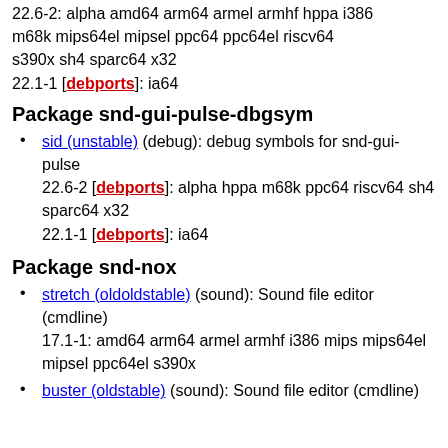22.6-2: alpha amd64 arm64 armel armhf hppa i386 m68k mips64el mipsel ppc64 ppc64el riscv64 s390x sh4 sparc64 x32
22.1-1 [debports]: ia64
Package snd-gui-pulse-dbgsym
sid (unstable) (debug): debug symbols for snd-gui-pulse
22.6-2 [debports]: alpha hppa m68k ppc64 riscv64 sh4 sparc64 x32
22.1-1 [debports]: ia64
Package snd-nox
stretch (oldoldstable) (sound): Sound file editor (cmdline)
17.1-1: amd64 arm64 armel armhf i386 mips mips64el mipsel ppc64el s390x
buster (oldstable) (sound): Sound file editor (cmdline)